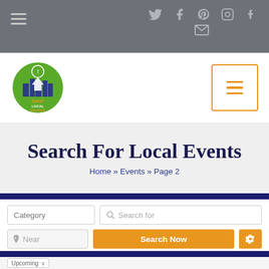Social icons: Twitter, Facebook, Pinterest, Instagram, Tumblr, Email; Hamburger menu
[Figure (logo): Shop Local Raleigh circular logo with arrow and city skyline]
Search For Local Events
Home » Events » Page 2
Category | Search for | Near | Search Now | Settings
Upcoming